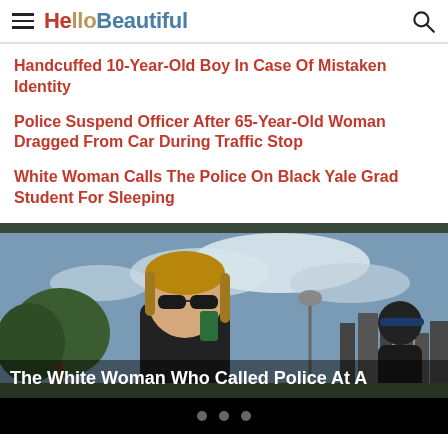HelloBeautiful
Handcuffed 10-Year-Old Boy In Case Of Mistaken Identity
Police Suspend Officer After 65-Year-Old Woman Dragged From Car During Traffic Stop
White Woman Calls The Police On Black Yale Grad Student For Sleeping
[Figure (photo): White woman on phone outdoors with city skyline in background, wearing sunglasses and dark jacket. Caption: The White Woman Who Called Police At A]
The White Woman Who Called Police At A